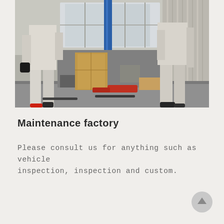[Figure (photo): Two workers in white overalls walking through a vehicle maintenance factory/garage with a blue hydraulic lift, cardboard boxes, and corrugated metal wall in the background.]
Maintenance factory
Please consult us for anything such as vehicle inspection, inspection and custom.